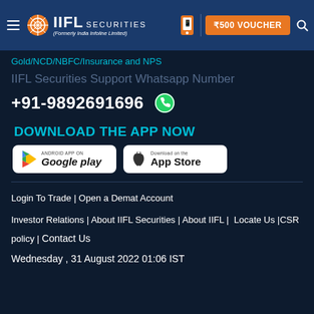[Figure (logo): IIFL Securities logo with hamburger menu, phone icon, ₹500 voucher button, and search icon in a dark blue header bar]
Gold/NCD/NBFC/Insurance and NPS
IIFL Securities Support Whatsapp Number
+91-9892691696
DOWNLOAD THE APP NOW
[Figure (illustration): Google Play and App Store download buttons]
Login To Trade | Open a Demat Account
Investor Relations | About IIFL Securities | About IIFL | Locate Us | CSR policy | Contact Us
Wednesday , 31 August 2022 01:06 IST